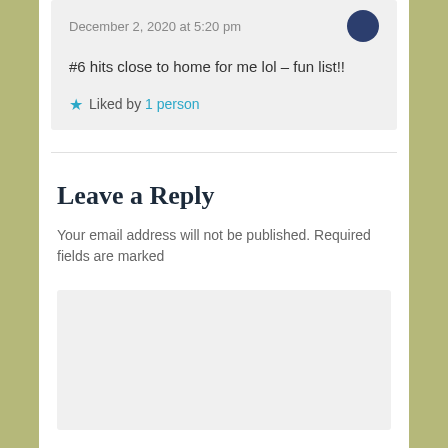December 2, 2020 at 5:20 pm
#6 hits close to home for me lol – fun list!!
Liked by 1 person
Leave a Reply
Your email address will not be published. Required fields are marked